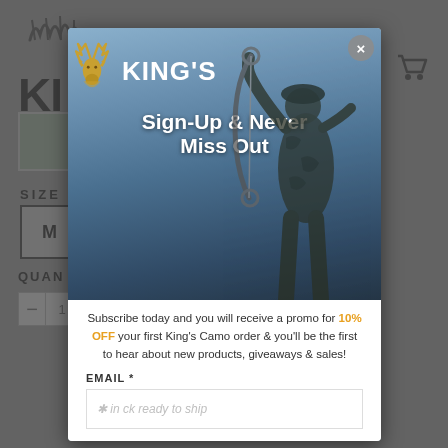[Figure (screenshot): Background e-commerce product page showing King's Camo website with SIZE label, M size box selected, QUANTITY section, and shopping cart icon. Page is dimmed by modal overlay.]
[Figure (infographic): King's Camo email sign-up modal popup with King's logo (golden antler deer + KING'S text), Sign-Up & Never Miss Out headline, subscription description mentioning 10% OFF promo, EMAIL field with placeholder, and golden submit button at bottom. Hunter with compound bow visible in background of modal.]
Sign-Up & Never Miss Out
Subscribe today and you will receive a promo for 10% OFF your first King's Camo order & you'll be the first to hear about new products, giveaways & sales!
EMAIL *